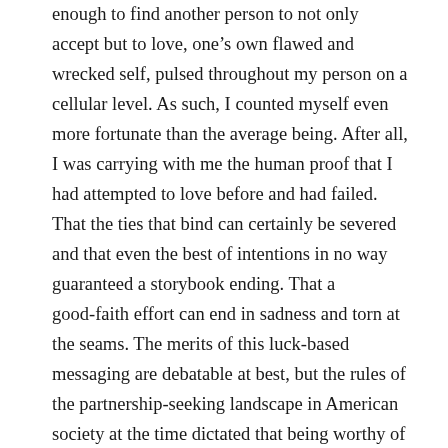enough to find another person to not only accept but to love, one's own flawed and wrecked self, pulsed throughout my person on a cellular level. As such, I counted myself even more fortunate than the average being. After all, I was carrying with me the human proof that I had attempted to love before and had failed. That the ties that bind can certainly be severed and that even the best of intentions in no way guaranteed a storybook ending. That a good-faith effort can end in sadness and torn at the seams. The merits of this luck-based messaging are debatable at best, but the rules of the partnership-seeking landscape in American society at the time dictated that being worthy of love and acceptance pivoted off of traveling lightly and making one's needs as scant as possible. Armed with this intuited knowledge, I set out to be the best future wife known to all and sundry. To provide love and care without needing too much of either for myself. I love with food, so I learned to